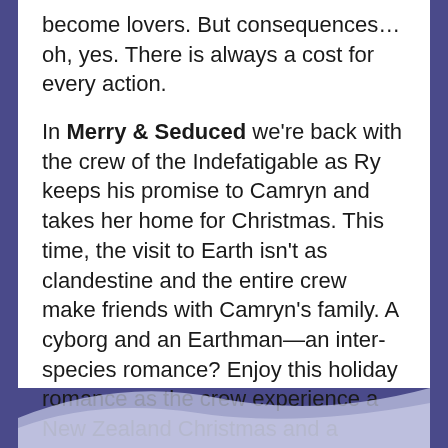become lovers. But consequences...oh, yes. There is always a cost for every action.
In Merry & Seduced we're back with the crew of the Indefatigable as Ry keeps his promise to Camryn and takes her home for Christmas. This time, the visit to Earth isn't as clandestine and the entire crew make friends with Camryn's family. A cyborg and an Earthman—an inter-species romance? Enjoy this holiday romance as the crew experience a New Zealand Christmas and a billionaire businessman learns that family is just as important as money.